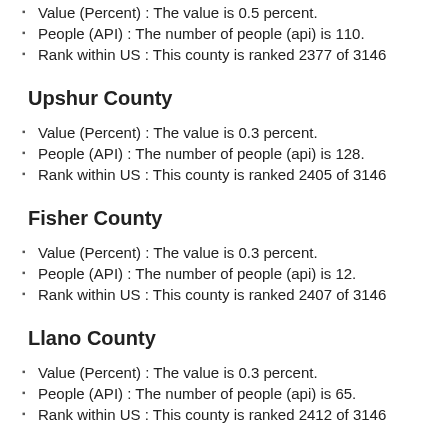Value (Percent) : The value is 0.5 percent.
People (API) : The number of people (api) is 110.
Rank within US : This county is ranked 2377 of 3146
Upshur County
Value (Percent) : The value is 0.3 percent.
People (API) : The number of people (api) is 128.
Rank within US : This county is ranked 2405 of 3146
Fisher County
Value (Percent) : The value is 0.3 percent.
People (API) : The number of people (api) is 12.
Rank within US : This county is ranked 2407 of 3146
Llano County
Value (Percent) : The value is 0.3 percent.
People (API) : The number of people (api) is 65.
Rank within US : This county is ranked 2412 of 3146